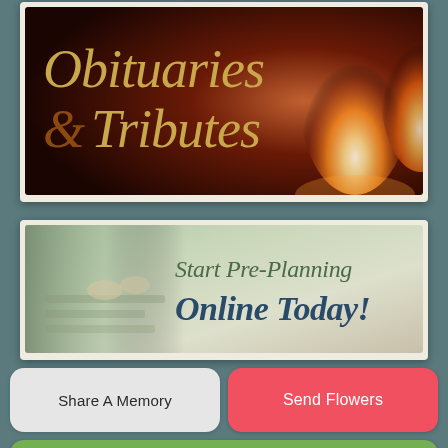[Figure (illustration): Obituaries & Tributes banner with dark reddish-brown background and glowing candle flames on the right. Large italic serif text reads 'Obituaries & Tributes' in gold/tan color with a darker ampersand.]
[Figure (illustration): Start Pre-Planning Online Today! banner with muted green and beige background showing hands near a keyboard, green italic serif text on the right.]
Share A Memory
Send Flowers
Plant A Tree